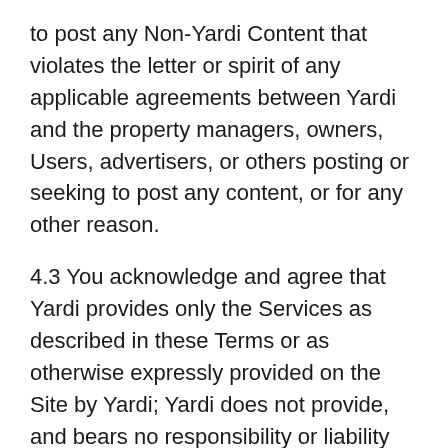to post any Non-Yardi Content that violates the letter or spirit of any applicable agreements between Yardi and the property managers, owners, Users, advertisers, or others posting or seeking to post any content, or for any other reason.
4.3 You acknowledge and agree that Yardi provides only the Services as described in these Terms or as otherwise expressly provided on the Site by Yardi; Yardi does not provide, and bears no responsibility or liability for, any other content or services, including but not limited to the following:
(a) Lease transactions, including without limitation, negotiations, offers, agreements, establishing rents or fees, or any related communications (through the Services or otherwise);